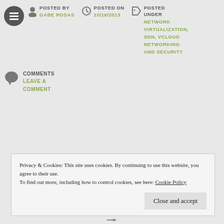POSTED BY GABE ROSAS | POSTED ON 10/19/2013 | POSTED UNDER NETWORK VIRTUALIZATION, SDN, VCLOUD NETWORKING AND SECURITY
COMMENTS
LEAVE A COMMENT
Privacy & Cookies: This site uses cookies. By continuing to use this website, you agree to their use.
To find out more, including how to control cookies, see here: Cookie Policy
Close and accept